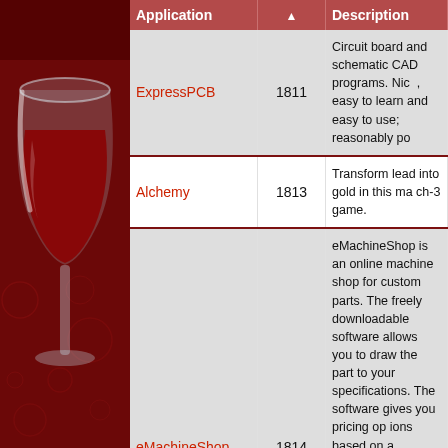[Figure (illustration): Wine application logo — a white/silver wine glass with red wine, set against a dark red background with subtle decorative circles]
| Application | ▲ | Description |
| --- | --- | --- |
| ExpressPCB | 1811 | Circuit board and schematic CAD programs. Nice, easy to learn and easy to use; reasonably po... |
| Alchemy | 1813 | Transform lead into gold in this match-3 game. |
| eMachineShop | 1814 | eMachineShop is an online machine shop for custom parts. The freely downloadable software allows you to draw the part to your specifications. The software gives you pricing options based on a... |